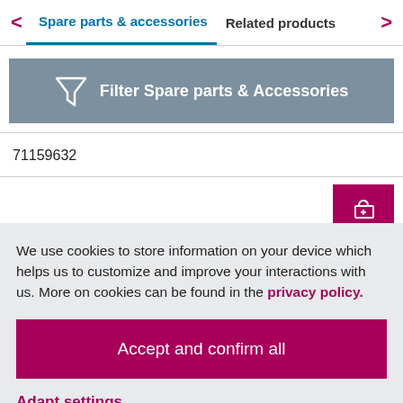Spare parts & accessories   Related products
[Figure (other): Filter Spare parts & Accessories button with funnel icon on grey-blue background]
71159632
[Figure (other): Add to cart pink/magenta button with cart icon]
We use cookies to store information on your device which helps us to customize and improve your interactions with us. More on cookies can be found in the privacy policy.
Accept and confirm all
Adapt settings